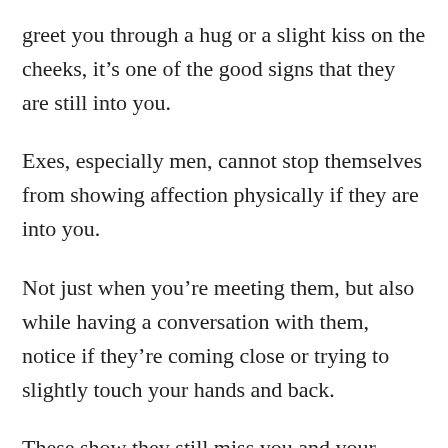greet you through a hug or a slight kiss on the cheeks, it’s one of the good signs that they are still into you.
Exes, especially men, cannot stop themselves from showing affection physically if they are into you.
Not just when you’re meeting them, but also while having a conversation with them, notice if they’re coming close or trying to slightly touch your hands and back.
These show they still miss you and your